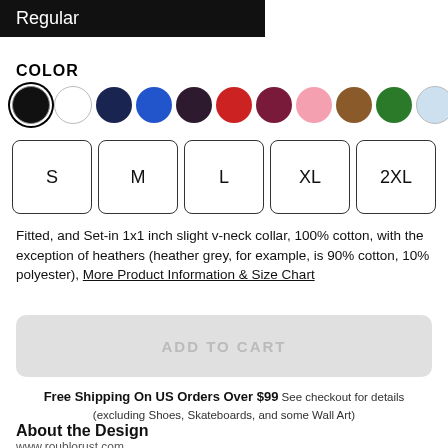Regular
COLOR
[Figure (other): Color swatches: black (selected), white, navy, blue, dark purple, red, burgundy, pink, brown, green, light blue]
[Figure (other): Size selector buttons: S, M, L, XL, 2XL]
Fitted, and Set-in 1x1 inch slight v-neck collar, 100% cotton, with the exception of heathers (heather grey, for example, is 90% cotton, 10% polyester), More Product Information & Size Chart
ADD TO CART
Free Shipping On US Orders Over $99 See checkout for details (excluding Shoes, Skateboards, and some Wall Art)
About the Design
www.roublorust.com